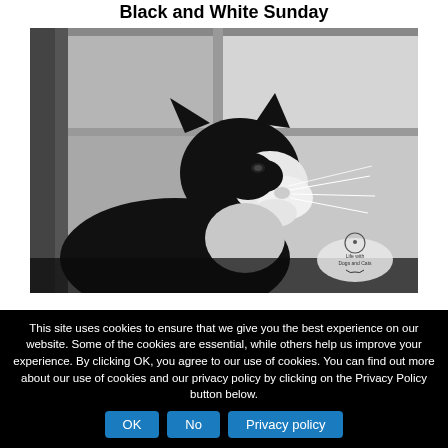Black and White Sunday
[Figure (photo): Black and white photograph of a tuxedo cat (black and white cat) looking upward toward a window. The cat is in profile, showing its white whiskers and black markings on its face. In the bottom right corner is a small watermark tag reading 'Life with Dogs and Cats'.]
This site uses cookies to ensure that we give you the best experience on our website. Some of the cookies are essential, while others help us improve your experience. By clicking OK, you agree to our use of cookies. You can find out more about our use of cookies and our privacy policy by clicking on the Privacy Policy button below.
OK | No | Privacy policy